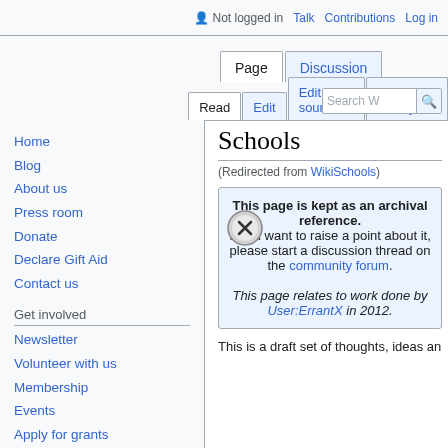Not logged in  Talk  Contributions  Log in
Page  Discussion  Read  Edit  Edit source  View history  Search W
Schools
(Redirected from WikiSchools)
This page is kept as an archival reference.
If you want to raise a point about it, please start a discussion thread on the community forum.
This page relates to work done by User:ErrantX in 2012.
Home
Blog
About us
Press room
Donate
Declare Gift Aid
Contact us
Get involved
Newsletter
Volunteer with us
Membership
Events
Apply for grants
This is a draft set of thoughts, ideas an...